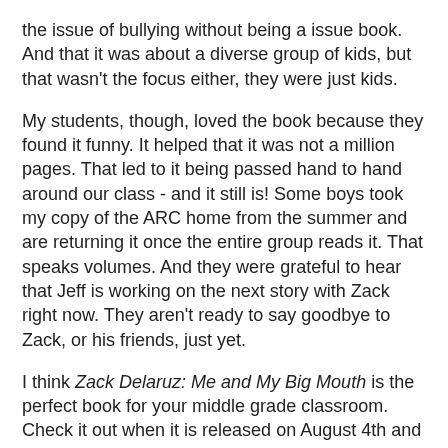the issue of bullying without being a issue book. And that it was about a diverse group of kids, but that wasn't the focus either, they were just kids.
My students, though, loved the book because they found it funny. It helped that it was not a million pages. That led to it being passed hand to hand around our class - and it still is! Some boys took my copy of the ARC home from the summer and are returning it once the entire group reads it. That speaks volumes. And they were grateful to hear that Jeff is working on the next story with Zack right now. They aren't ready to say goodbye to Zack, or his friends, just yet.
I think Zack Delaruz: Me and My Big Mouth is the perfect book for your middle grade classroom. Check it out when it is released on August 4th and you will grow to love Zack and his friends too.